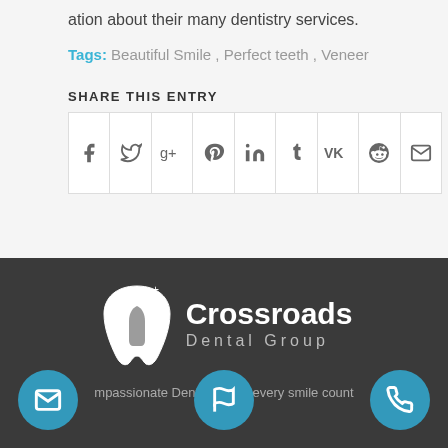ation about their many dentistry services.
Tags: Beautiful Smile, Perfect teeth, Veneer
SHARE THIS ENTRY
[Figure (other): Social share buttons row with icons: Facebook, Twitter, Google+, Pinterest, LinkedIn, Tumblr, VK, Reddit, Email]
[Figure (logo): Crossroads Dental Group logo with tooth icon on dark background]
Compassionate Dentistry where every smile counts